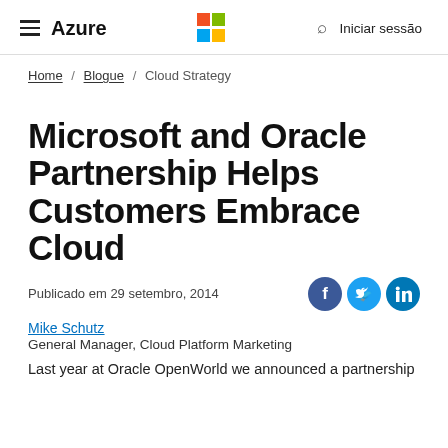Azure — Microsoft logo — Iniciar sessão
Home / Blogue / Cloud Strategy
Microsoft and Oracle Partnership Helps Customers Embrace Cloud
Publicado em 29 setembro, 2014
Mike Schutz
General Manager, Cloud Platform Marketing
Last year at Oracle OpenWorld we announced a partnership